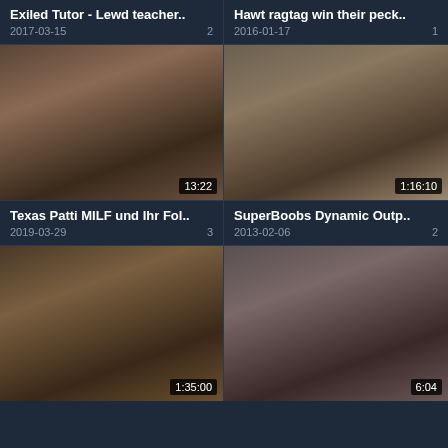Exiled Tutor - Lewd teacher...
2017-03-15   2
Hawt ragtag win their peck...
2016-01-17   1
[Figure (photo): Video thumbnail - woman in dark setting, duration 13:22]
[Figure (photo): Video thumbnail - people in office setting, duration 1:16:10]
Texas Patti MILF und Ihr Fol...
2019-03-29   3
SuperBoobs Dynamic Outp...
2013-02-06   2
[Figure (photo): Video thumbnail - woman lying down, duration 1:35:00]
[Figure (photo): Video thumbnail - group scene, duration 6:04]